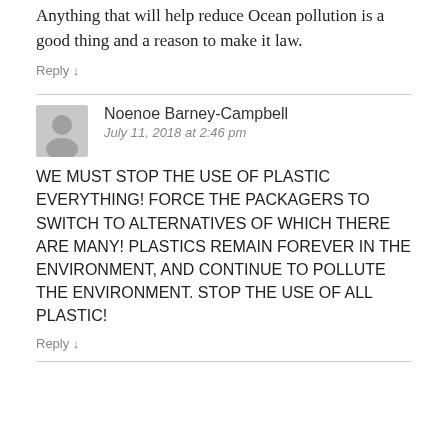Anything that will help reduce Ocean pollution is a good thing and a reason to make it law.
Reply ↓
Noenoe Barney-Campbell
July 11, 2018 at 2:46 pm
WE MUST STOP THE USE OF PLASTIC EVERYTHING! FORCE THE PACKAGERS TO SWITCH TO ALTERNATIVES OF WHICH THERE ARE MANY! PLASTICS REMAIN FOREVER IN THE ENVIRONMENT, AND CONTINUE TO POLLUTE THE ENVIRONMENT. STOP THE USE OF ALL PLASTIC!
Reply ↓